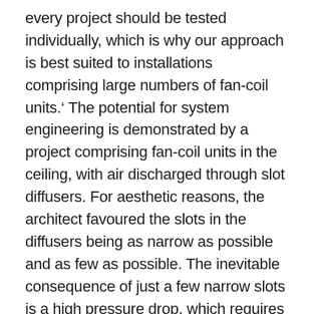every project should be tested individually, which is why our approach is best suited to installations comprising large numbers of fan-coil units.' The potential for system engineering is demonstrated by a project comprising fan-coil units in the ceiling, with air discharged through slot diffusers. For aesthetic reasons, the architect favoured the slots in the diffusers being as narrow as possible and as few as possible. The inevitable consequence of just a few narrow slots is a high pressure drop, which requires more fan power and which is also noisy. When the initial-concept layout was mocked up in a test room, the pressure drop from the outlet of the fan-coil unit to the discharge from the diffusers was found to be as high as 60 to 70 Pa. The general rule-of-thumb specified by consulting engineers is 30 to 50 Pa. Indeed, the system may well not have satisfied the requirements of the current Part L of the Building Regulations requiring fan power not to exceed 0.8 W/ls. Terry Farthing explains that by testing various configurations, the pressure drop was